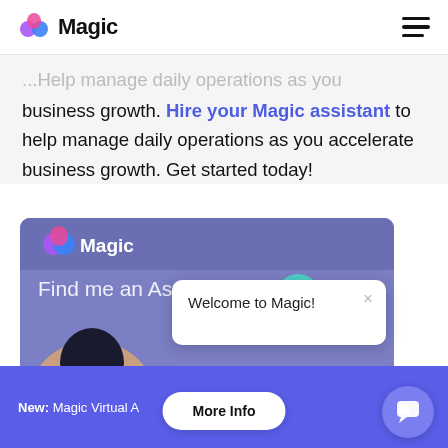Magic
business growth. Hire your Magic assistant to help manage daily operations as you accelerate business growth. Get started today!
[Figure (screenshot): Screenshot of the Magic app interface showing the Magic logo, 'Find me an Assistant' text, a profile photo of a woman, and a 'Welcome to Magic!' popup dialog with a close button.]
New: Magic Virtual Assistants starting at $10/hr   More Info